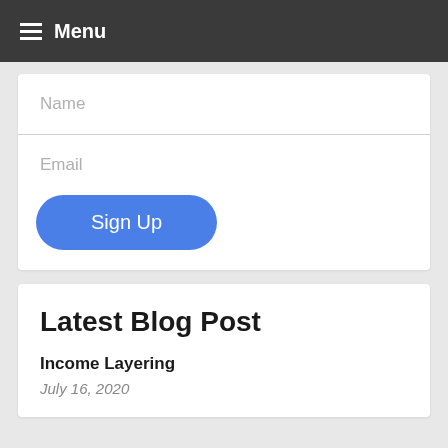Menu
Name
Email
Sign Up
Latest Blog Post
Income Layering
July 16, 2020